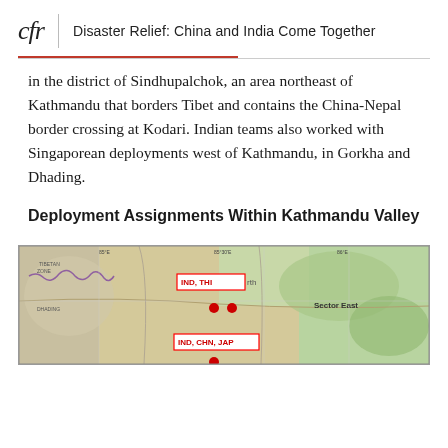cfr | Disaster Relief: China and India Come Together
in the district of Sindhupalchok, an area northeast of Kathmandu that borders Tibet and contains the China-Nepal border crossing at Kodari. Indian teams also worked with Singaporean deployments west of Kathmandu, in Gorkha and Dhading.
Deployment Assignments Within Kathmandu Valley
[Figure (map): Map of Kathmandu Valley showing deployment assignments. Labels visible include 'IND, THI' in a red box in the center-north area, 'IND, CHN, JAP' in a red box in the center area, 'Sector East' label on the right side, and red dot markers indicating deployment locations. The map shows topographic/geographic features of the region with surrounding districts.]